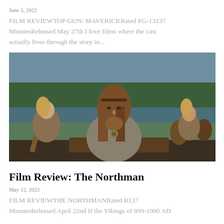June 3, 2022
FILM REVIEWTOP GUN: MAVERICKRated PG-13137 MinutesReleased May 27th I love films where the cast actually lives through the story in...
[Figure (photo): Scene from The Northman film: a bearded Viking man with long hair and a headband rowing a longboat, with other Viking warriors and a lake and trees in the background.]
Film Review: The Northman
May 12, 2022
FILM REVIEWTHE NORTHMANRated R137 MinutesReleased April 22nd If the Vikings of 899-1000 AD...